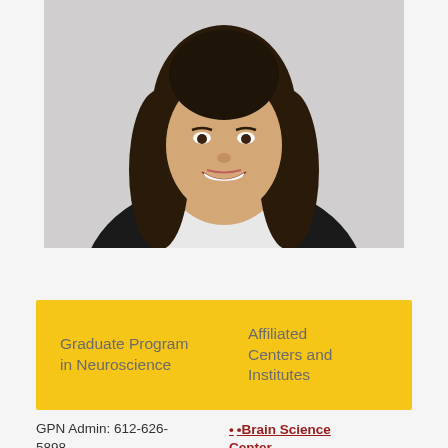[Figure (photo): Headshot of a smiling young woman with long dark hair, wearing a black blazer over a white top, against a light gray background.]
Graduate Program in Neuroscience
Affiliated Centers and Institutes
GPN Admin: 612-626-5898
•Brain Science Center